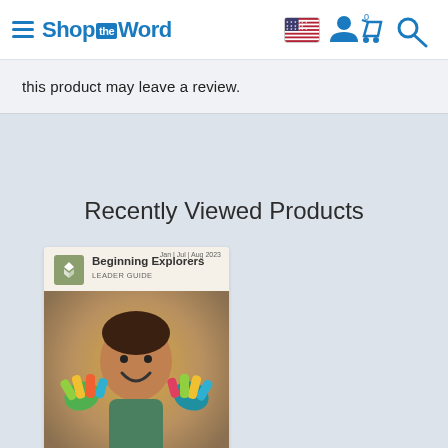ShoptheWord — navigation header with hamburger menu, logo, US flag, user/cart/search icons
this product may leave a review.
Recently Viewed Products
[Figure (photo): Book cover for 'Beginning Explorers Leader Guide' (Jan Jul Aug 2023) showing a child with colorful painted hands smiling]